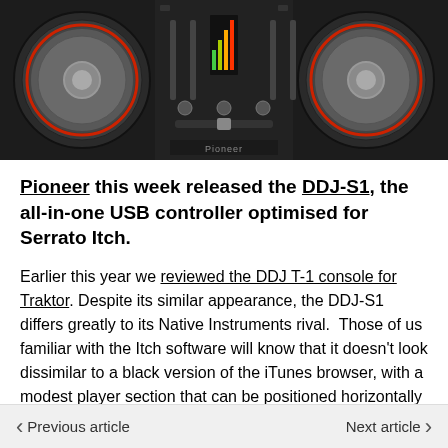[Figure (photo): Pioneer DDJ-S1 DJ controller, a black hardware unit with two large silver jog wheels on either side, faders and knobs in the center, viewed from above at a slight angle.]
Pioneer this week released the DDJ-S1, the all-in-one USB controller optimised for Serrato Itch.
Earlier this year we reviewed the DDJ T-1 console for Traktor. Despite its similar appearance, the DDJ-S1 differs greatly to its Native Instruments rival.  Those of us familiar with the Itch software will know that it doesn't look dissimilar to a black version of the iTunes browser, with a modest player section that can be positioned horizontally or left/right.
Unlike Traktor. which has a very busy. informative
Previous article    Next article